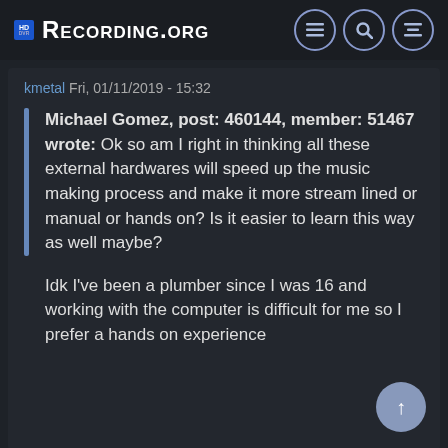Recording.org
kmetal Fri, 01/11/2019 - 15:32
Michael Gomez, post: 460144, member: 51467 wrote: Ok so am I right in thinking all these external hardwares will speed up the music making process and make it more stream lined or manual or hands on? Is it easier to learn this way as well maybe?
Idk I've been a plumber since I was 16 and working with the computer is difficult for me so I prefer a hands on experience